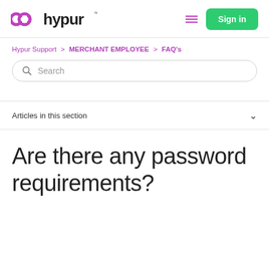[Figure (logo): Hypur logo with chain-link icon in magenta/purple and 'hypur' wordmark in dark text]
Hypur Support > MERCHANT EMPLOYEE > FAQ's
Search
Articles in this section
Are there any password requirements?